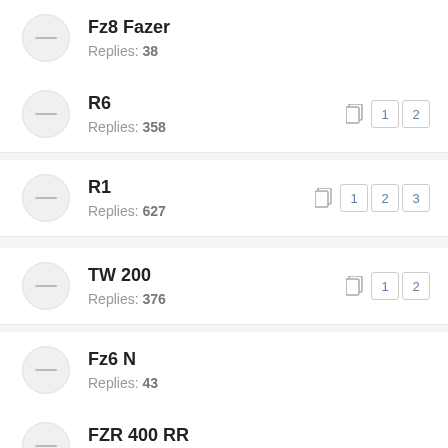Fz8 Fazer
Replies: 38
R6
Replies: 358
R1
Replies: 627
TW 200
Replies: 376
Fz6 N
Replies: 43
FZR 400 RR
Replies: 126